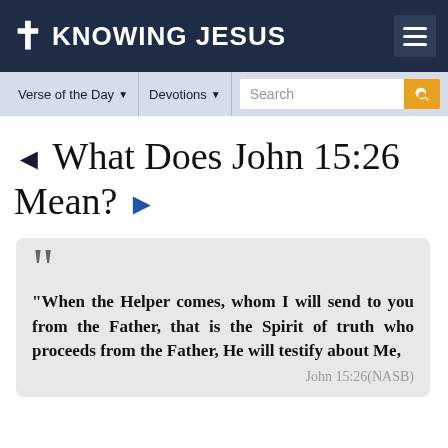KNOWING JESUS
Verse of the Day | Devotions | Search
◄ What Does John 15:26 Mean? ►
"When the Helper comes, whom I will send to you from the Father, that is the Spirit of truth who proceeds from the Father, He will testify about Me,
John 15:26(NASB)